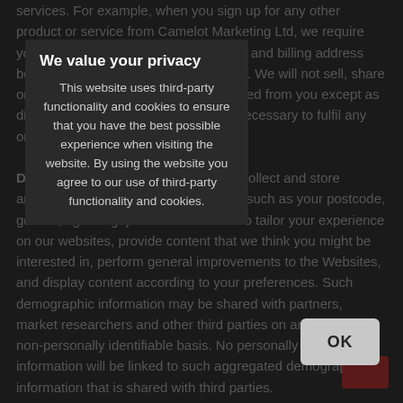services. For example, when you sign up for any other product or service from Camelot Marketing Ltd, we require you to provide your credit card number and billing address before we will process your application. We will not sell, share or rent any financial information collected from you except as disclosed in this Privacy Policy or as necessary to fulfil any order for our products or services. Demographic Information: We may collect and store anonymous demographic information (such as your postcode, gender, age range) and use this data to tailor your experience on our websites, provide content that we think you might be interested in, perform general improvements to the Websites, and display content according to your preferences. Such demographic information may be shared with partners, market researchers and other third parties on an aggregate, non-personally identifiable basis. No personally identifiable information will be linked to such aggregated demographic information that is shared with third parties.
We value your privacy
This website uses third-party functionality and cookies to ensure that you have the best possible experience when visiting the website. By using the website you agree to our use of third-party functionality and cookies.
OK